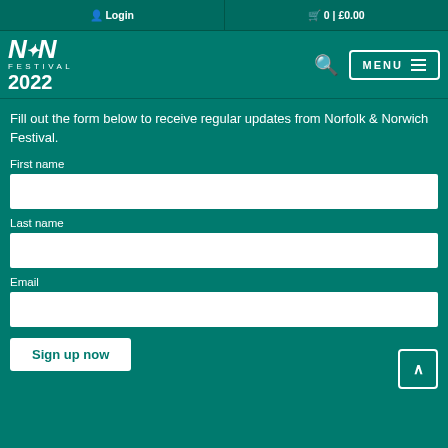Login | 0 | £0.00
[Figure (logo): N&N Festival 2022 logo in white on teal background]
Fill out the form below to receive regular updates from Norfolk & Norwich Festival.
First name
Last name
Email
Sign up now